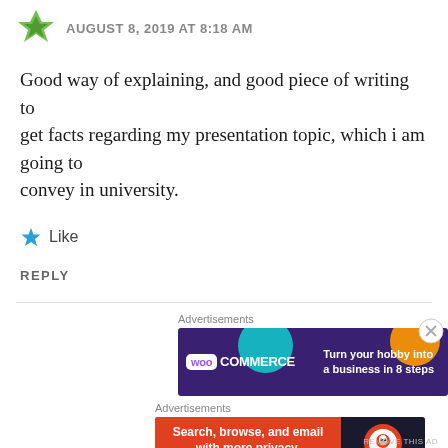AUGUST 8, 2019 AT 8:18 AM
Good way of explaining, and good piece of writing to get facts regarding my presentation topic, which i am going to
convey in university.
Like
REPLY
[Figure (infographic): WooCommerce advertisement banner: dark purple background with teal and orange decorative shapes, WooCommerce logo on left, text 'Turn your hobby into a business in 8 steps' on right]
[Figure (infographic): DuckDuckGo advertisement banner: orange-red background on left with text 'Search, browse, and email with more privacy. All in One Free App', dark right panel with DuckDuckGo logo and name]